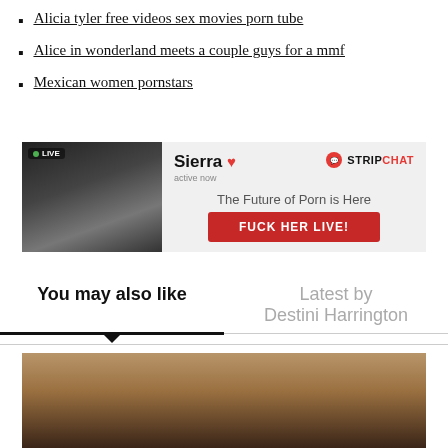Alicia tyler free videos sex movies porn tube
Alice in wonderland meets a couple guys for a mmf
Mexican women pornstars
[Figure (photo): Stripchat advertisement banner featuring a woman labeled Sierra, active now, with STRIPCHAT branding and a red button reading FUCK HER LIVE!]
You may also like
Latest by Destini Harrington
[Figure (photo): Partially visible photo of a person at the bottom of the page]